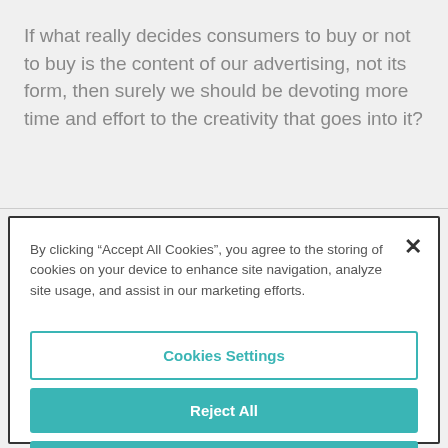If what really decides consumers to buy or not to buy is the content of our advertising, not its form, then surely we should be devoting more time and effort to the creativity that goes into it?
By clicking “Accept All Cookies”, you agree to the storing of cookies on your device to enhance site navigation, analyze site usage, and assist in our marketing efforts.
Cookies Settings
Reject All
Accept All Cookies